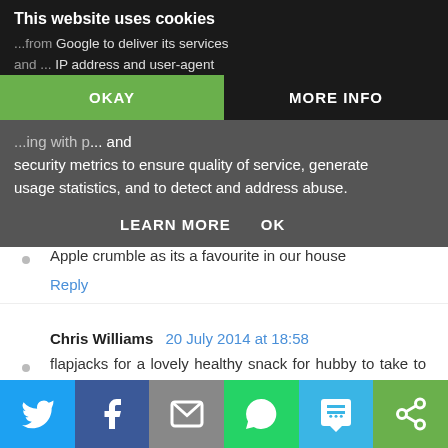This website uses cookies
...from Google to deliver its services and ...IP address and user-agent ...ing with p... and security metrics to ensure quality of service, generate usage statistics, and to detect and address abuse.
OKAY | MORE INFO
LEARN MORE  OK
Jill Fairbank  20 July 2014 at 18:15
Apple crumble as its a favourite in our house
Reply
Chris Williams  20 July 2014 at 18:58
flapjacks for a lovely healthy snack for hubby to take to work
[Figure (screenshot): Social share bar at bottom with Twitter, Facebook, Email, WhatsApp, SMS, and other share buttons]